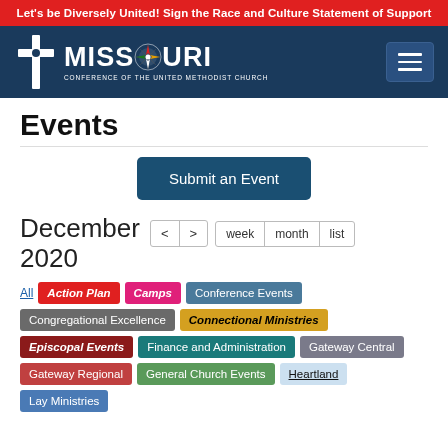Let's be Diversely United! Sign the Race and Culture Statement of Support
[Figure (logo): Missouri Conference of the United Methodist Church logo with cross and flame icon and compass rose in the letter O]
Events
Submit an Event
December 2020
All
Action Plan
Camps
Conference Events
Congregational Excellence
Connectional Ministries
Episcopal Events
Finance and Administration
Gateway Central
Gateway Regional
General Church Events
Heartland
Lay Ministries